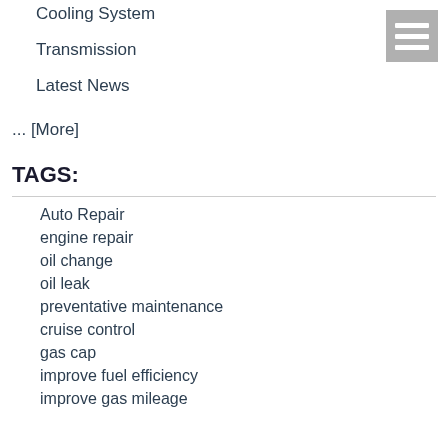Cooling System
Transmission
Latest News
... [More]
TAGS:
Auto Repair
engine repair
oil change
oil leak
preventative maintenance
cruise control
gas cap
improve fuel efficiency
improve gas mileage